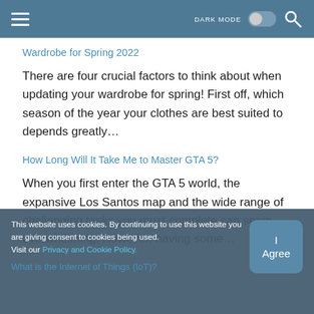DARK MODE [toggle] [search]
Wardrobe for Spring 2022
There are four crucial factors to think about when updating your wardrobe for spring! First off, which season of the year your clothes are best suited to depends greatly…
How Long Will It Take Me to Master GTA 5?
When you first enter the GTA 5 world, the expansive Los Santos map and the wide range of challenging tasks you must complete can seem overwhelming. However, having some…
This website uses cookies. By continuing to use this website you are giving consent to cookies being used. Visit our Privacy and Cookie Policy.
What is the Internet of Things (IoT)?